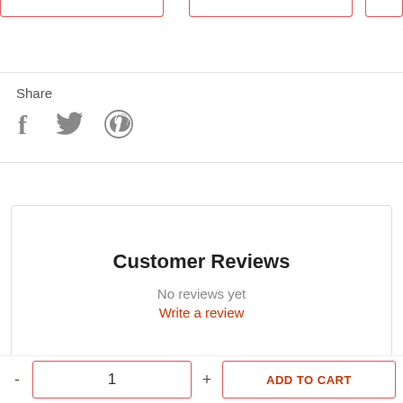[Figure (screenshot): Partial top section showing three red-bordered input boxes cropped at the top of the page]
Share
[Figure (infographic): Social share icons: Facebook (f), Twitter (bird), Pinterest (P circle) in gray]
Customer Reviews
No reviews yet
Write a review
[Figure (infographic): US flag icon with USD currency selector dropdown]
- 1 + ADD TO CART